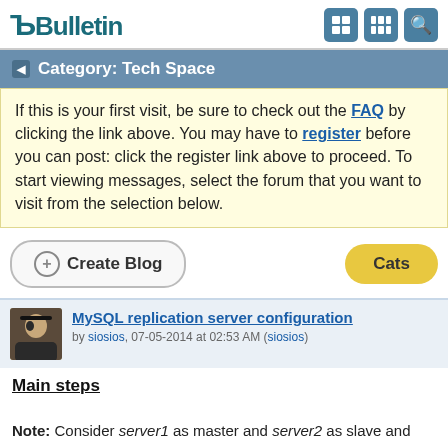vBulletin
Category: Tech Space
If this is your first visit, be sure to check out the FAQ by clicking the link above. You may have to register before you can post: click the register link above to proceed. To start viewing messages, select the forum that you want to visit from the selection below.
[Figure (screenshot): Create Blog button and Cats button]
[Figure (other): Blog post entry: MySQL replication server configuration by siosios, 07-05-2014 at 02:53 AM (siosios)]
Main steps
Note: Consider server1 as master and server2 as slave and